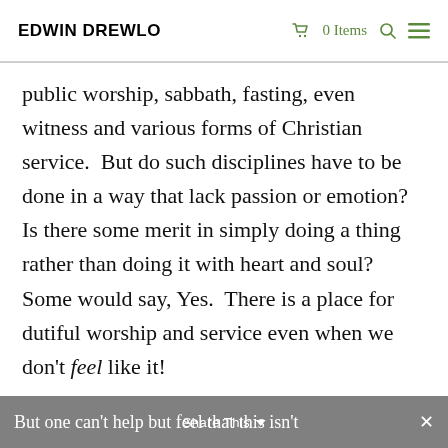EDWIN DREWLO   🛒 0 Items 🔍 ≡
public worship, sabbath, fasting, even witness and various forms of Christian service.  But do such disciplines have to be done in a way that lack passion or emotion?  Is there some merit in simply doing a thing rather than doing it with heart and soul?  Some would say, Yes.  There is a place for dutiful worship and service even when we don't feel like it!
But one can't help but feel that this isn't   Share This ∨   ×